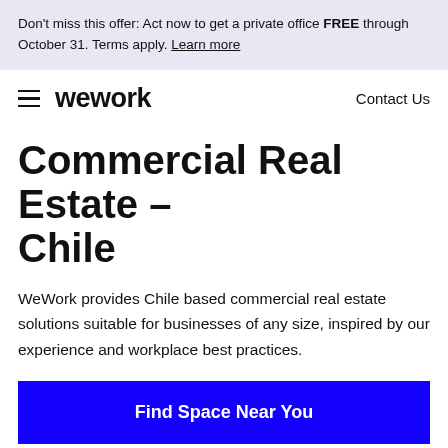Don't miss this offer: Act now to get a private office FREE through October 31. Terms apply. Learn more
[Figure (logo): WeWork logo with hamburger menu on left and Contact Us on right]
Commercial Real Estate – Chile
WeWork provides Chile based commercial real estate solutions suitable for businesses of any size, inspired by our experience and workplace best practices.
Find Space Near You